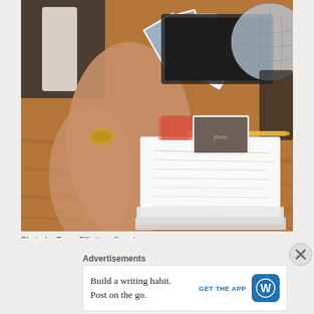[Figure (photo): A person holding several polaroid/printed photos in their hand over a wooden desk with notebooks, a pencil, printed photos, a laptop, and a globe in the background.]
Photo by Taryn Elliott on Pexels.com
First-hand experience is a luxury and one which we
Advertisements
Build a writing habit. Post on the go. GET THE APP